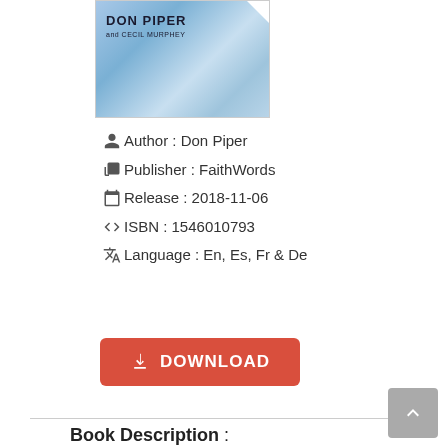[Figure (illustration): Book cover of a Don Piper book with blue sky/clouds background, showing title area and a page-curl effect in top right corner. Author name: DON PIPER and CECIL MURPHEY shown on cover.]
Author : Don Piper
Publisher : FaithWords
Release : 2018-11-06
ISBN : 1546010793
Language : En, Es, Fr & De
DOWNLOAD
Book Description :
This is the book you've been waiting for! Picking up where bestselling 90 Minutes in Heaven left off, Don Piper reveals for the first time the sacred, intimate details of the people who met him at the gates of heaven and the profound impact they had on his faith